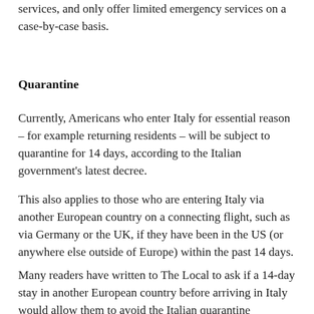services, and only offer limited emergency services on a case-by-case basis.
Quarantine
Currently, Americans who enter Italy for essential reason – for example returning residents – will be subject to quarantine for 14 days, according to the Italian government's latest decree.
This also applies to those who are entering Italy via another European country on a connecting flight, such as via Germany or the UK, if they have been in the US (or anywhere else outside of Europe) within the past 14 days.
Many readers have written to The Local to ask if a 14-day stay in another European country before arriving in Italy would allow them to avoid the Italian quarantine requirement and/or allow them to travel for non-urgent reasons.